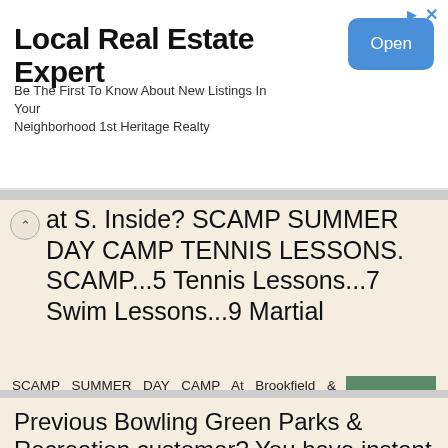[Figure (screenshot): Advertisement banner for Local Real Estate Expert with Open button]
Local Real Estate Expert
Be The First To Know About New Listings In Your Neighborhood 1st Heritage Realty
at S. Inside? SCAMP SUMMER DAY CAMP TENNIS LESSONS. SCAMP...5 Tennis Lessons...7 Swim Lessons...9 Martial
SCAMP SUMMER DAY CAMP At Brookfield & Mequon Scamp started in 1987 and has become Elite s largest summer program. Children ages 4-11 will participate with our seasoned staff in a variety of sports including
[Figure (photo): Summer camp photo with children swimming and SUMMER text overlay]
More information →
Previous Bowling Green Parks & Recreation customer? You have instant access.
Online Registration www.bgohio.org/parks iparks is your virtual home for BG Parks &
[Figure (photo): 2018 Summer Guide brochure image]